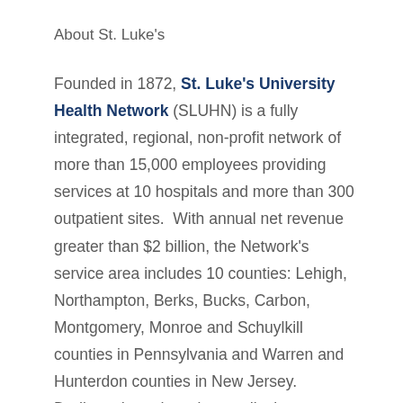About St. Luke's
Founded in 1872, St. Luke's University Health Network (SLUHN) is a fully integrated, regional, non-profit network of more than 15,000 employees providing services at 10 hospitals and more than 300 outpatient sites. With annual net revenue greater than $2 billion, the Network's service area includes 10 counties: Lehigh, Northampton, Berks, Bucks, Carbon, Montgomery, Monroe and Schuylkill counties in Pennsylvania and Warren and Hunterdon counties in New Jersey. Dedicated to advancing medical